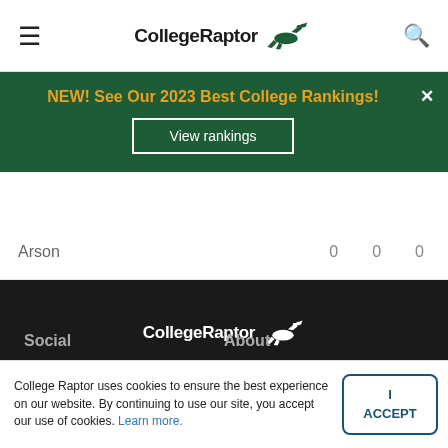CollegeRaptor
NEW! See Our 2023 Best College Rankings! View rankings
|  |  |  |  |
| --- | --- | --- | --- |
| Arson | 0 | 0 | 0 |
[Figure (logo): CollegeRaptor logo in white on dark background]
Social   About
College Raptor uses cookies to ensure the best experience on our website. By continuing to use our site, you accept our use of cookies. Learn more.